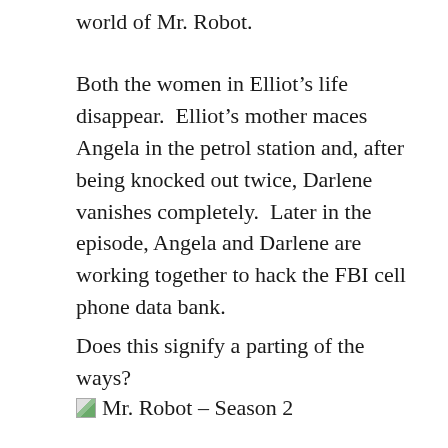world of Mr. Robot.
Both the women in Elliot’s life disappear. Elliot’s mother maces Angela in the petrol station and, after being knocked out twice, Darlene vanishes completely.  Later in the episode, Angela and Darlene are working together to hack the FBI cell phone data bank.
Does this signify a parting of the ways?
[Figure (photo): Broken image placeholder followed by caption text: Mr. Robot – Season 2]